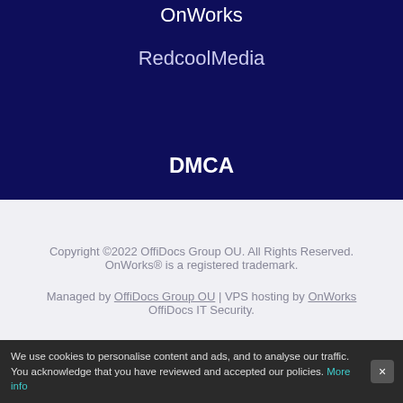OnWorks
RedcoolMedia
DMCA
Copyright ©2022 OffiDocs Group OU. All Rights Reserved. OnWorks® is a registered trademark.
Managed by OffiDocs Group OU | VPS hosting by OnWorks OffiDocs IT Security.
We use cookies to personalise content and ads, and to analyse our traffic. You acknowledge that you have reviewed and accepted our policies. More info